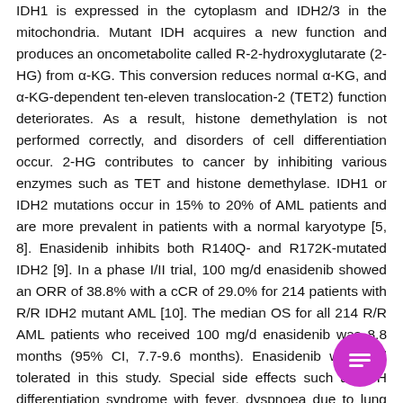IDH1 is expressed in the cytoplasm and IDH2/3 in the mitochondria. Mutant IDH acquires a new function and produces an oncometabolite called R-2-hydroxyglutarate (2-HG) from α-KG. This conversion reduces normal α-KG, and α-KG-dependent ten-eleven translocation-2 (TET2) function deteriorates. As a result, histone demethylation is not performed correctly, and disorders of cell differentiation occur. 2-HG contributes to cancer by inhibiting various enzymes such as TET and histone demethylase. IDH1 or IDH2 mutations occur in 15% to 20% of AML patients and are more prevalent in patients with a normal karyotype [5, 8]. Enasidenib inhibits both R140Q- and R172K-mutated IDH2 [9]. In a phase I/II trial, 100 mg/d enasidenib showed an ORR of 38.8% with a cCR of 29.0% for 214 patients with R/R IDH2 mutant AML [10]. The median OS for all 214 R/R AML patients who received 100 mg/d enasidenib was 8.8 months (95% CI, 7.7-9.6 months). Enasidenib was well tolerated in this study. Special side effects such as IDH differentiation syndrome with fever, dyspnoea due to lung infiltrates and effusion, and leukocytosis occurred in 6.4% of participating patients [10]. The FDA approved enaside...
[Figure (other): Purple circular chat/list button icon in bottom right corner]